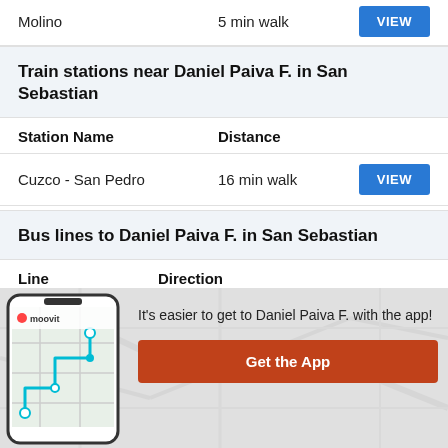Molino | 5 min walk | VIEW
Train stations near Daniel Paiva F. in San Sebastian
| Station Name | Distance |  |
| --- | --- | --- |
| Cuzco - San Pedro | 16 min walk | VIEW |
Bus lines to Daniel Paiva F. in San Sebastian
| Line Name | Direction |
| --- | --- |
[Figure (screenshot): Moovit app promo with phone mockup showing map route, text 'It's easier to get to Daniel Paiva F. with the app!' and orange 'Get the App' button]